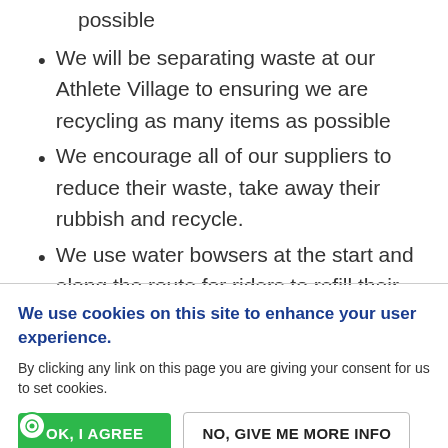possible
We will be separating waste at our Athlete Village to ensuring we are recycling as many items as possible
We encourage all of our suppliers to reduce their waste, take away their rubbish and recycle.
We use water bowsers at the start and along the route for riders to refill their water bottles thus
We use cookies on this site to enhance your user experience.
By clicking any link on this page you are giving your consent for us to set cookies.